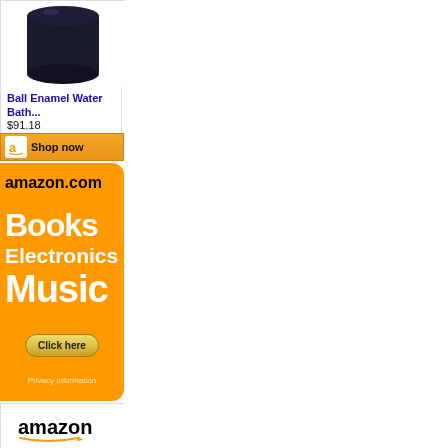[Figure (photo): Black enamel water bath canner product image shown partially at top]
Ball Enamel Water Bath...
$91.18
[Figure (other): Amazon Shop now button with orange background and Amazon 'a' logo]
[Figure (other): Amazon.com advertisement banner with orange background showing Books, Electronics, Music categories with Click here button and Privacy Information link]
[Figure (logo): Amazon logo at bottom of page, partially visible]